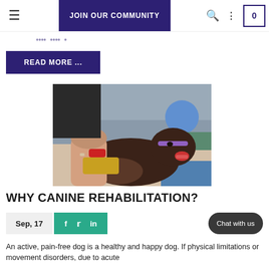JOIN OUR COMMUNITY
READ MORE ...
[Figure (photo): A dark brown dog with a purple collar lying on a padded surface, being treated or massaged by a person holding a red and yellow device. The dog appears happy with mouth open.]
WHY CANINE REHABILITATION?
Sep, 17
An active, pain-free dog is a healthy and happy dog. If physical limitations or movement disorders, due to acute